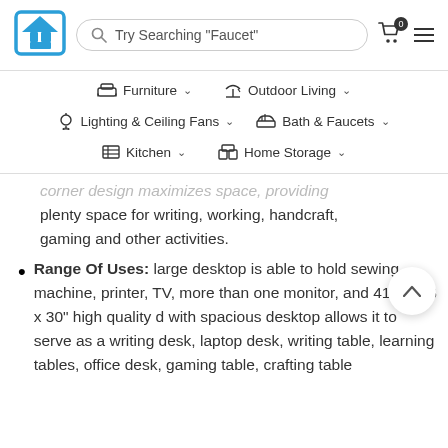Home store website header with logo, search bar 'Try Searching "Faucet"', cart icon with 0 badge, and menu icon
Furniture, Outdoor Living, Lighting & Ceiling Fans, Bath & Faucets, Kitchen, Home Storage navigation menu
corner design maximizes space, providing plenty space for writing, working, handcraft, gaming and other activities.
Range Of Uses: large desktop is able to hold sewing machine, printer, TV, more than one monitor, and 41.7 x 28 x 30" high quality d with spacious desktop allows it to serve as a writing desk, laptop desk, writing table, learning tables, office desk, gaming table, crafting table